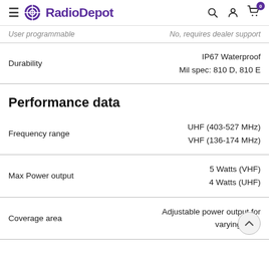RadioDepot — navigation header with search, account, and cart icons
| Feature | Value |
| --- | --- |
| User programmable | No, requires dealer support |
| Durability | IP67 Waterproof
Mil spec: 810 D, 810 E |
Performance data
| Feature | Value |
| --- | --- |
| Frequency range | UHF (403-527 MHz)
VHF (136-174 MHz) |
| Max Power output | 5 Watts (VHF)
4 Watts (UHF) |
| Coverage area | Adjustable power output for varying cove… |